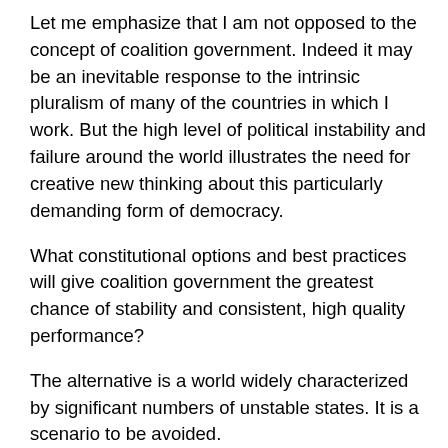Let me emphasize that I am not opposed to the concept of coalition government. Indeed it may be an inevitable response to the intrinsic pluralism of many of the countries in which I work. But the high level of political instability and failure around the world illustrates the need for creative new thinking about this particularly demanding form of democracy.
What constitutional options and best practices will give coalition government the greatest chance of stability and consistent, high quality performance?
The alternative is a world widely characterized by significant numbers of unstable states. It is a scenario to be avoided.
Again, the discussion of comparative political systems is just one of many conversations in which the great universities of the world should be vital participants. Our own Aga Khan University is now planning a new Graduate